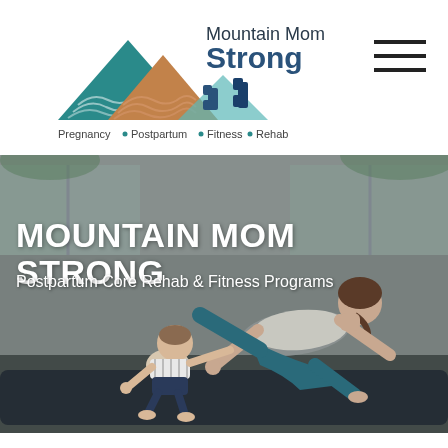[Figure (logo): Mountain Mom Strong logo with teal and brown mountain illustration, dumbbells, and text 'Mountain Mom Strong' with tagline 'Pregnancy • Postpartum • Fitness • Rehab']
[Figure (photo): Hero image of a woman in workout clothes doing a bird-dog exercise on a yoga mat while a baby/toddler mimics the pose next to her, in a bright studio with windows]
MOUNTAIN MOM STRONG
Postpartum Core Rehab & Fitness Programs